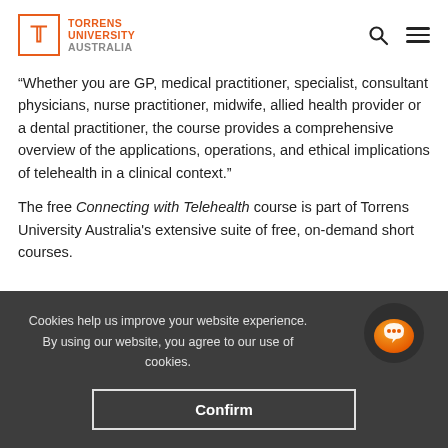Torrens University Australia
“Whether you are GP, medical practitioner, specialist, consultant physicians, nurse practitioner, midwife, allied health provider or a dental practitioner, the course provides a comprehensive overview of the applications, operations, and ethical implications of telehealth in a clinical context.”
The free Connecting with Telehealth course is part of Torrens University Australia's extensive suite of free, on-demand short courses.
Cookies help us improve your website experience. By using our website, you agree to our use of cookies.
Confirm